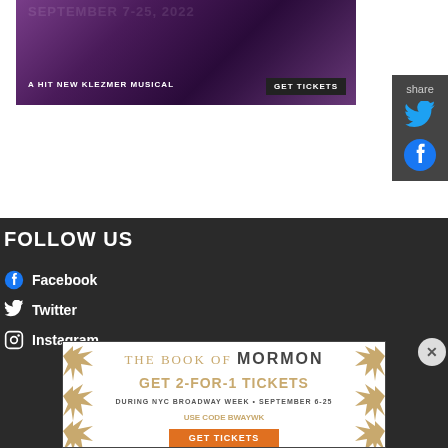[Figure (photo): Theater advertisement banner for a klezmer musical showing September 7-25, 2022. Purple/dark background with performer image, text: 'SEPTEMBER 7-25, 2022', 'A HIT NEW KLEZMER MUSICAL', 'GET TICKETS' button.]
[Figure (infographic): Share sidebar with Twitter and Facebook icons on dark gray background.]
FOLLOW US
Facebook
Twitter
Instagram
[Figure (photo): Advertisement for The Book of Mormon. Text: 'THE BOOK OF MORMON', 'GET 2-FOR-1 TICKETS', 'DURING NYC BROADWAY WEEK • SEPTEMBER 6-25', 'USE CODE BWAYWK', 'GET TICKETS' button. Gold/tan starburst border decoration.]